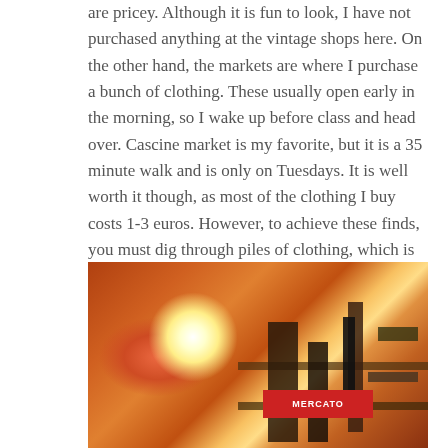are pricey. Although it is fun to look, I have not purchased anything at the vintage shops here. On the other hand, the markets are where I purchase a bunch of clothing. These usually open early in the morning, so I wake up before class and head over. Cascine market is my favorite, but it is a 35 minute walk and is only on Tuesdays. It is well worth it though, as most of the clothing I buy costs 1-3 euros. However, to achieve these finds, you must dig through piles of clothing, which is time consuming and quite exhausting once the temperature rises.
[Figure (photo): A dimly lit indoor market or shop scene with warm orange tones, a bright glare/light source, shelving with dark items, and a red sign in the lower middle area.]